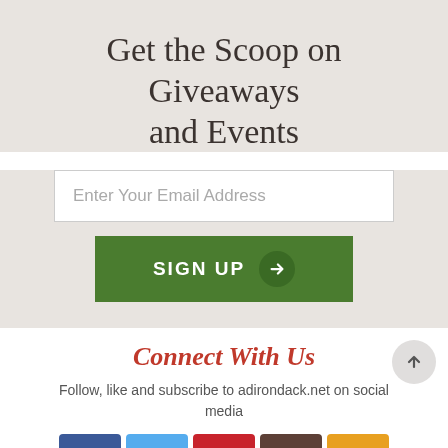Get the Scoop on Giveaways and Events
Enter Your Email Address
SIGN UP
Connect With Us
Follow, like and subscribe to adirondack.net on social media
[Figure (infographic): Row of five social media icons: Facebook (blue), Twitter (light blue), Pinterest (red), Instagram (dark brown/grey), and a calendar/event icon (orange/yellow)]